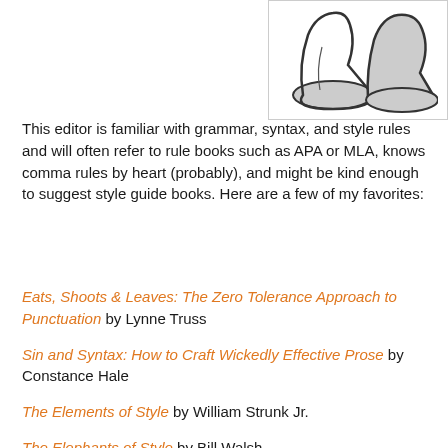[Figure (illustration): Partial illustration of a cartoon character or object (boots/shoes shape) visible in upper right corner, line drawing with gray fill]
This editor is familiar with grammar, syntax, and style rules and will often refer to rule books such as APA or MLA, knows comma rules by heart (probably), and might be kind enough to suggest style guide books. Here are a few of my favorites:
Eats, Shoots & Leaves: The Zero Tolerance Approach to Punctuation by Lynne Truss
Sin and Syntax: How to Craft Wickedly Effective Prose by Constance Hale
The Elements of Style by William Strunk Jr.
The Elephants of Style by Bill Walsh